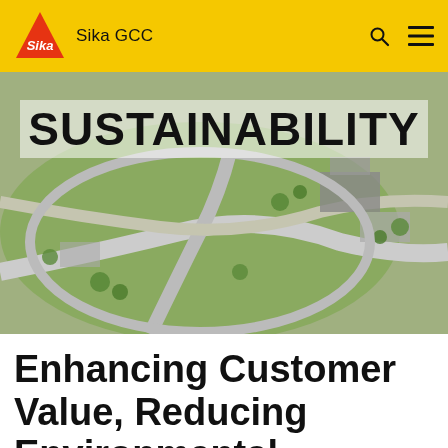Sika GCC
[Figure (photo): Aerial view of a green campus or facility with roads, green areas, and buildings — hero image for the sustainability page]
SUSTAINABILITY
Enhancing Customer Value, Reducing Environmental Impacts, and Assuming Social